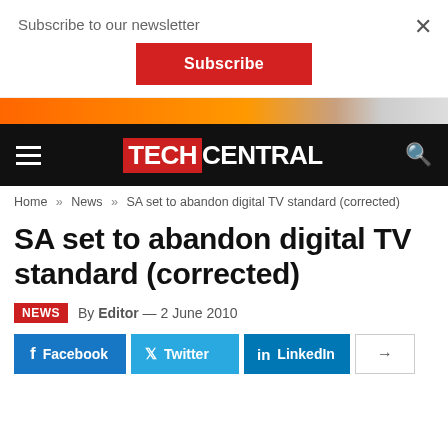Subscribe to our newsletter
Subscribe
[Figure (screenshot): Orange/red advertisement banner strip]
TECHCENTRAL
Home » News » SA set to abandon digital TV standard (corrected)
SA set to abandon digital TV standard (corrected)
NEWS  By Editor — 2 June 2010
Facebook  Twitter  LinkedIn